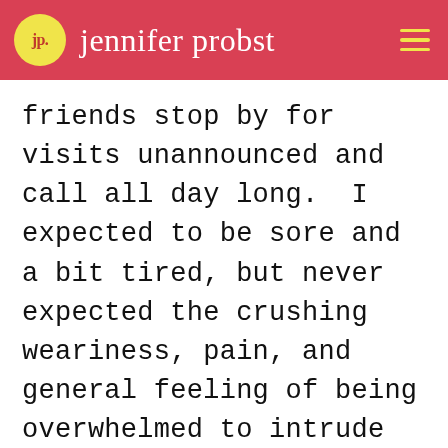jennifer probst
friends stop by for visits unannounced and call all day long.  I expected to be sore and a bit tired, but never expected the crushing weariness, pain, and general feeling of being overwhelmed to intrude on every waking hour.  I experienced bouts of